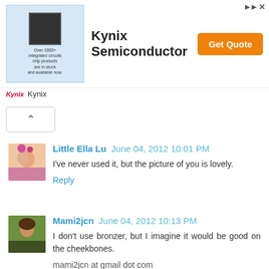[Figure (screenshot): Kynix Semiconductor advertisement banner with chip image, company name, and Get Quote button]
[Figure (photo): User avatar for Little Ella Lu - small photo of children]
Little Ella Lu June 04, 2012 10:01 PM
I've never used it, but the picture of you is lovely.
Reply
[Figure (photo): User avatar for Mami2jcn - photo of person outdoors]
Mami2jcn June 04, 2012 10:13 PM
I don't use bronzer, but I imagine it would be good on the cheekbones.
mami2jcn at gmail dot com
Reply
[Figure (logo): Orange circle Blogger avatar icon for Sarah]
Sarah June 04, 2012 10:13 PM